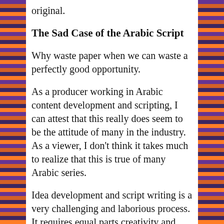original.
The Sad Case of the Arabic Script
Why waste paper when we can waste a perfectly good opportunity.
As a producer working in Arabic content development and scripting, I can attest that this really does seem to be the attitude of many in the industry. As a viewer, I don't think it takes much to realize that this is true of many Arabic series.
Idea development and script writing is a very challenging and laborious process. It requires equal parts creativity and technical skills. Anyone can tell a story, some can write it, but few can script interwoven plot lines that illuminate one